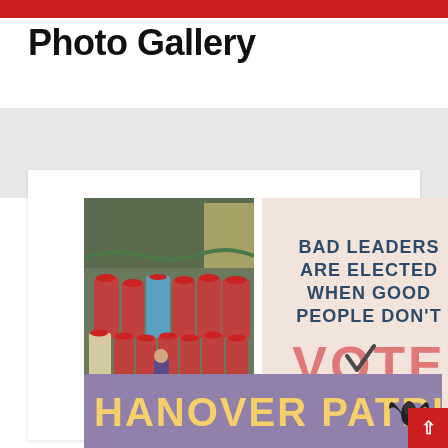Photo Gallery
[Figure (photo): Group photo of people in red shirts and Santa hats posing together indoors with Christmas decorations]
[Figure (infographic): Motivational voting image on pinkish background reading: BAD LEADERS ARE ELECTED WHEN GOOD PEOPLE DON'T VOTE, with a checkmark in the O of VOTE]
[Figure (infographic): Hanover Patriots banner with yellow text on purple background with bat graphic]